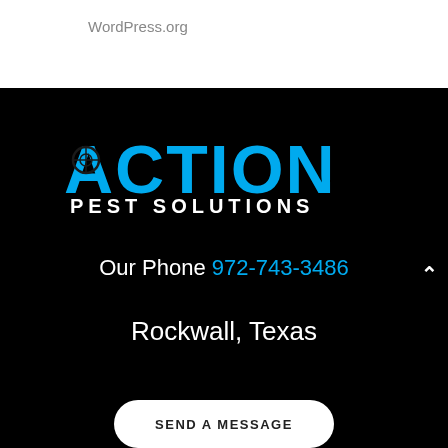WordPress.org
[Figure (logo): Action Pest Solutions logo: large cyan 'ACTION' text with a crosshair/target icon inside the letter A, and white 'PEST SOLUTIONS' text below on a black background]
Our Phone 972-743-3486
Rockwall, Texas
SEND A MESSAGE